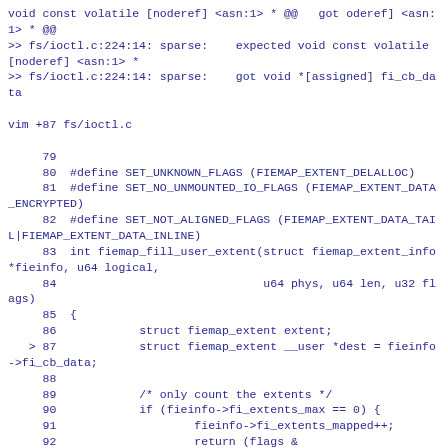void const volatile [noderef] <asn:1> * @@   got oderef] <asn:1> * @@
>> fs/ioctl.c:224:14: sparse:    expected void const volatile [noderef] <asn:1> *
>> fs/ioctl.c:224:14: sparse:    got void *[assigned] fi_cb_data

vim +87 fs/ioctl.c

     79
     80  #define SET_UNKNOWN_FLAGS (FIEMAP_EXTENT_DELALLOC)
     81  #define SET_NO_UNMOUNTED_IO_FLAGS (FIEMAP_EXTENT_DATA_ENCRYPTED)
     82  #define SET_NOT_ALIGNED_FLAGS (FIEMAP_EXTENT_DATA_TAIL|FIEMAP_EXTENT_DATA_INLINE)
     83  int fiemap_fill_user_extent(struct fiemap_extent_info *fieinfo, u64 logical,
     84                              u64 phys, u64 len, u32 flags)
     85  {
     86            struct fiemap_extent extent;
   > 87            struct fiemap_extent __user *dest = fieinfo->fi_cb_data;
     88
     89            /* only count the extents */
     90            if (fieinfo->fi_extents_max == 0) {
     91                    fieinfo->fi_extents_mapped++;
     92                    return (flags &
FIEMAP_EXTENT_LAST) ? 1 : 0;